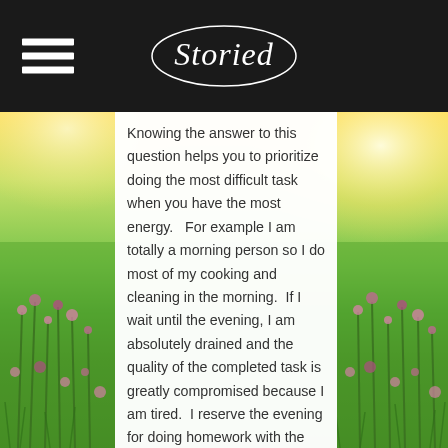Storied
Knowing the answer to this question helps you to prioritize doing the most difficult task when you have the most energy.   For example I am totally a morning person so I do most of my cooking and cleaning in the morning.  If I wait until the evening, I am absolutely drained and the quality of the completed task is greatly compromised because I am tired.  I reserve the evening for doing homework with the children, giving them face time and less demanding household tasks. So after you meet your with